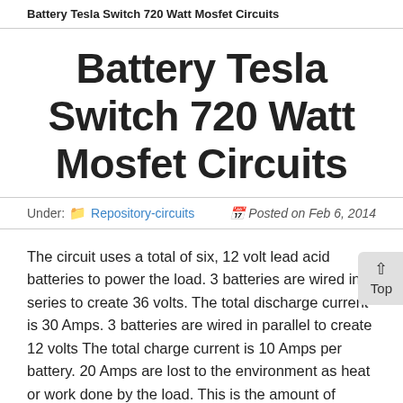Battery Tesla Switch 720 Watt Mosfet Circuits
Battery Tesla Switch 720 Watt Mosfet Circuits
Under:  Repository-circuits    Posted on Feb 6, 2014
The circuit uses a total of six, 12 volt lead acid batteries to power the load. 3 batteries are wired in series to create 36 volts. The total discharge current is 30 Amps. 3 batteries are wired in parallel to create 12 volts The total charge current is 10 Amps per battery. 20 Amps are lost to the environment as heat or work done by the load. This is the amount of energy that the environment needs to replace to keep the tesla switch running. A switching circuit is used to set the frequency by which the batteries are changed from